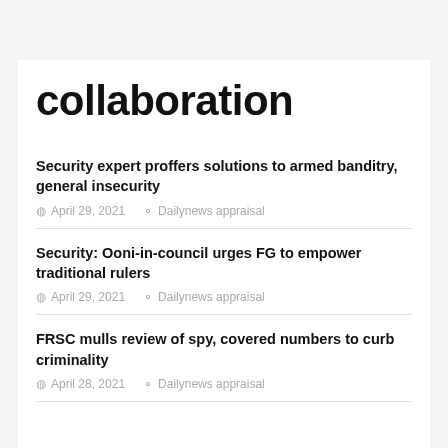collaboration
Security expert proffers solutions to armed banditry, general insecurity
April 29, 2021   Dailynews appraisal
Security: Ooni-in-council urges FG to empower traditional rulers
April 29, 2021   Dailynews appraisal
FRSC mulls review of spy, covered numbers to curb criminality
April 28, 2021   Dailynews appraisal